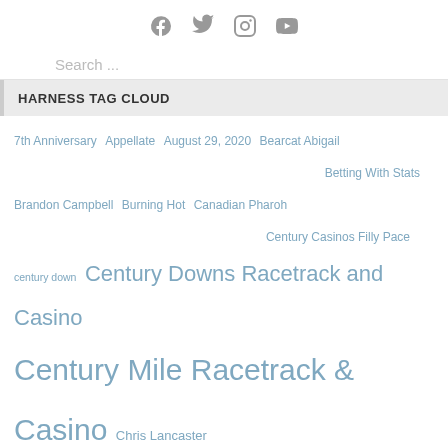[Social icons: Facebook, Twitter, Instagram, YouTube]
Search ...
HARNESS TAG CLOUD
7th Anniversary
Appellate
August 29, 2020
Bearcat Abigail
Betting With Stats
Brandon Campbell
Burning Hot
Canadian Pharoh
Century Casinos Filly Pace
century down
Century Downs Racetrack and Casino
Century Mile Racetrack & Casino
Chris Lancaster
Codename Cigar Box
Cowessess First Nation
Crackle And Burn
Crackle N Burn
Curtis Stock
Dave Kelly
Dawn Lupul
Don Byrne Memorial
Equine Virus
Exotic Dragon
Fan Appreciation Day
Gord & Illa Rumpel Memorial Stake